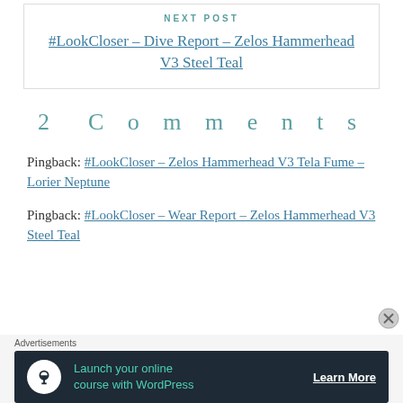NEXT POST
#LookCloser – Dive Report – Zelos Hammerhead V3 Steel Teal
2 Comments
Pingback: #LookCloser – Zelos Hammerhead V3 Tela Fume – Lorier Neptune
Pingback: #LookCloser – Wear Report – Zelos Hammerhead V3 Steel Teal
Advertisements
[Figure (other): Advertisement banner: Launch your online course with WordPress – Learn More]